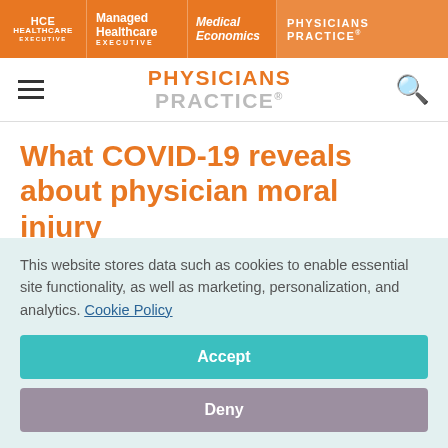HCE HEALTHCARE EXECUTIVE | Managed Healthcare EXECUTIVE | Medical Economics | PHYSICIANS PRACTICE
[Figure (logo): PHYSICIANS PRACTICE logo in orange text with navigation header]
What COVID-19 reveals about physician moral injury
June 9, 2022
This website stores data such as cookies to enable essential site functionality, as well as marketing, personalization, and analytics. Cookie Policy
Accept
Deny